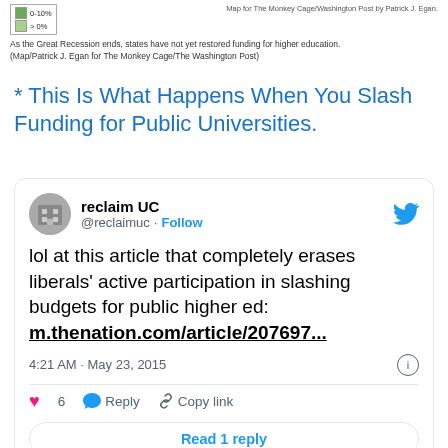[Figure (other): Partial map image with legend showing color codes and credit line reading 'Map for The Monkey Cage/Washington Post by Patrick J. Egan']
As the Great Recession ends, states have not yet restored funding for higher education. (Map/Patrick J. Egan for The Monkey Cage/The Washington Post)
* This Is What Happens When You Slash Funding for Public Universities.
[Figure (screenshot): Embedded tweet from reclaim UC (@reclaimuc) dated 4:21 AM · May 23, 2015. Tweet text: lol at this article that completely erases liberals' active participation in slashing budgets for public higher ed: m.thenation.com/article/207697... Likes: 6. Actions: Reply, Copy link. Read 1 reply button.]